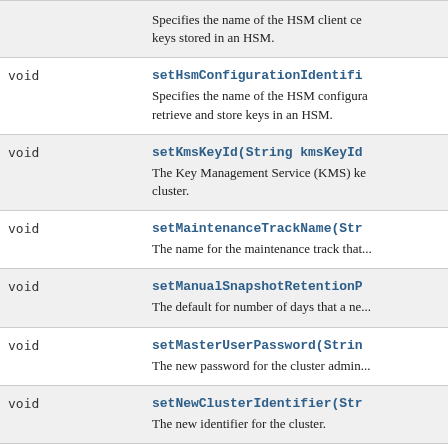|  |  |
| --- | --- |
| void | setHsmConfigurationIdentifi...
Specifies the name of the HSM configura... retrieve and store keys in an HSM. |
| void | setKmsKeyId(String kmsKeyId
The Key Management Service (KMS) ke... cluster. |
| void | setMaintenanceTrackName(Str
The name for the maintenance track that... |
| void | setManualSnapshotRetentionP...
The default for number of days that a ne... |
| void | setMasterUserPassword(Strin
The new password for the cluster admin... |
| void | setNewClusterIdentifier(Str
The new identifier for the cluster. |
| void | setNodeType(String nodeType |